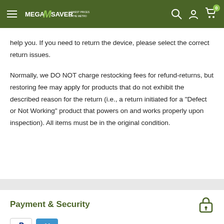MegaSaver - Lowest Prices in the Metro
help you. If you need to return the device, please select the correct return issues.
Normally, we DO NOT charge restocking fees for refund-returns, but restoring fee may apply for products that do not exhibit the described reason for the return (i.e., a return initiated for a "Defect or Not Working" product that powers on and works properly upon inspection). All items must be in the original condition.
Payment & Security